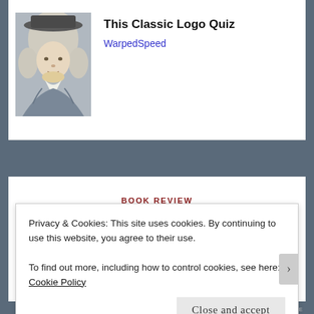[Figure (illustration): Portrait illustration of a person in colonial-era wig and clothing, shown from shoulders up, gray tones]
This Classic Logo Quiz
WarpedSpeed
BOOK REVIEW
REVIEW: A. Blob on a Bus by L.A.
Privacy & Cookies: This site uses cookies. By continuing to use this website, you agree to their use.
To find out more, including how to control cookies, see here: Cookie Policy
Close and accept
WARPEDSPEED.ME